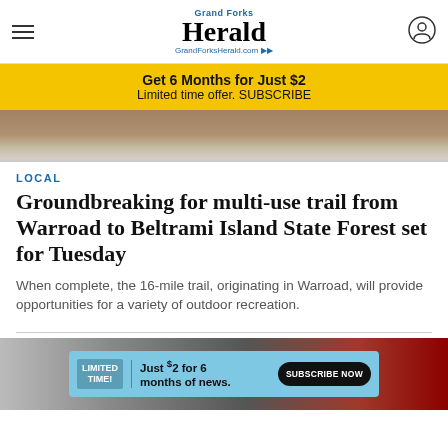Grand Forks Herald — GrandForksHerald.com
[Figure (infographic): Yellow subscription advertisement banner: Get 6 Months for Just $2 / Limited time offer. SUBSCRIBE]
[Figure (photo): Partial hero photo showing a stone/brick wall structure with snow at the bottom]
LOCAL
Groundbreaking for multi-use trail from Warroad to Beltrami Island State Forest set for Tuesday
When complete, the 16-mile trail, originating in Warroad, will provide opportunities for a variety of outdoor recreation.
[Figure (photo): Bottom photo partially visible showing a hockey rink with a light blue subscription overlay ad: LIMITED TIME! Just $2 for 6 months of news. SUBSCRIBE NOW]